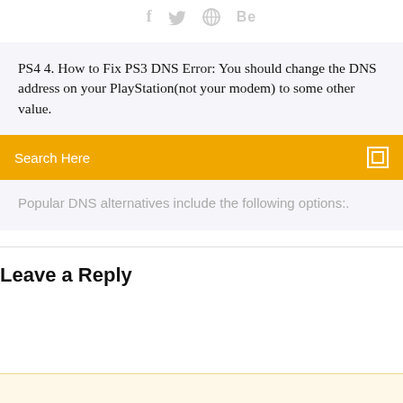[Figure (other): Social media icons: f (Facebook), bird (Twitter), circular icon, Be (Behance) in gray]
PS4 4. How to Fix PS3 DNS Error: You should change the DNS address on your PlayStation(not your modem) to some other value.
Search Here
Popular DNS alternatives include the following options:.
Leave a Reply